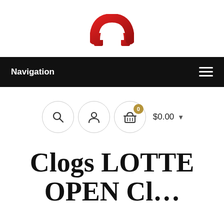[Figure (logo): Red arch/house logo icon in red and dark red tones]
Navigation
[Figure (infographic): Toolbar with search icon circle, user icon circle, cart icon circle with gold badge showing 0, and $0.00 price with dropdown arrow]
Clogs LOTTE OPEN Cl...